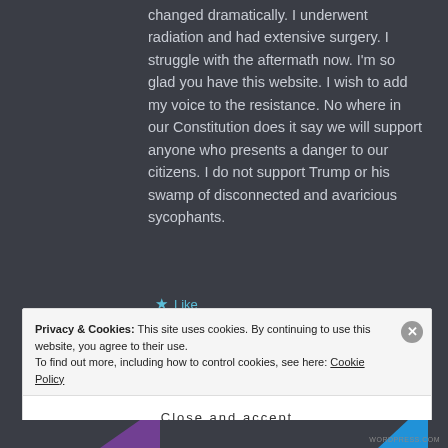changed dramatically. I underwent radiation and had extensive surgery. I struggle with the aftermath now. I'm so glad you have this website. I wish to add my voice to the resistance. No where in our Constitution does it say we will support anyone who presents a danger to our citizens. I do not support Trump or his swamp of disconnected and avaricious sycophants.
★ Like
Privacy & Cookies: This site uses cookies. By continuing to use this website, you agree to their use. To find out more, including how to control cookies, see here: Cookie Policy
Close and accept